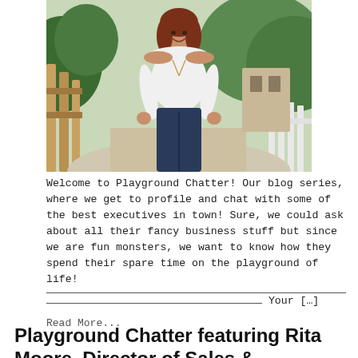[Figure (photo): A woman with auburn hair wearing a white off-shoulder top and dark jeans, smiling outdoors on a pathway with greenery and a wooden fence in the background.]
Welcome to Playground Chatter! Our blog series, where we get to profile and chat with some of the best executives in town! Sure, we could ask about all their fancy business stuff but since we are fun monsters, we want to know how they spend their spare time on the playground of life! __________________________________________________________ _______________________________________ Your [...] Read More...
Playground Chatter featuring Rita Moore, Director of Sales & Marketing at La Valencia Hotel